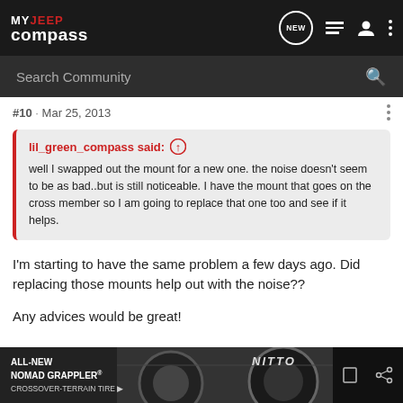MY JEEP compass
Search Community
#10 · Mar 25, 2013
lil_green_compass said: well I swapped out the mount for a new one. the noise doesn't seem to be as bad..but is still noticeable. I have the mount that goes on the cross member so I am going to replace that one too and see if it helps.
I'm starting to have the same problem a few days ago. Did replacing those mounts help out with the noise??
Any advices would be great!
[Figure (other): Advertisement banner for Nitto ALL-NEW NOMAD GRAPPLER CROSSOVER-TERRAIN TIRE with tire and car image]